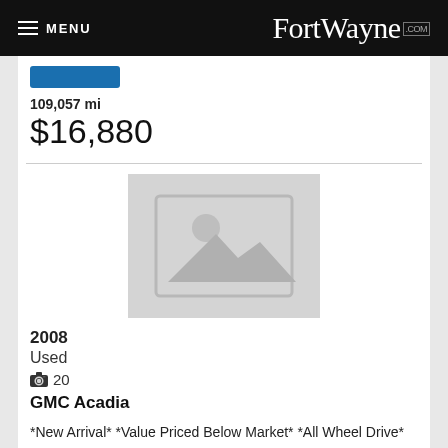MENU  FortWayne.com
109,057 mi
$16,880
[Figure (photo): Placeholder image thumbnail for car listing — grey background with image icon]
2008
Used
20
GMC Acadia
*New Arrival* *Value Priced Below Market* *All Wheel Drive* New Tires; Wheel Alignment Completed; Tires Balanced; Oil Changed; and Multi-Point Inspected *This ...